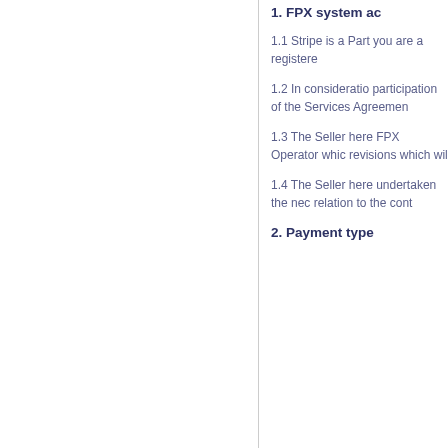1. FPX system ac
1.1 Stripe is a Part you are a registere
1.2 In consideratio participation of the Services Agreemen
1.3 The Seller here FPX Operator whic revisions which wil
1.4 The Seller here undertaken the nec relation to the cont
2. Payment type